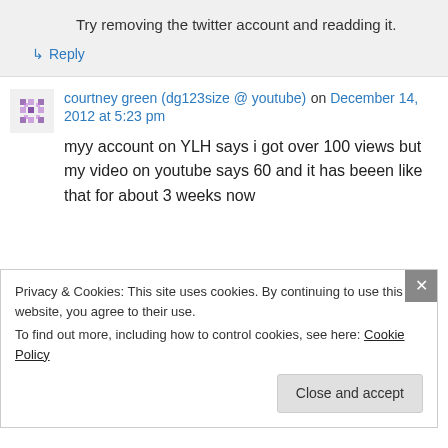Try removing the twitter account and readding it.
↳ Reply
courtney green (dg123size @ youtube) on December 14, 2012 at 5:23 pm
myy account on YLH says i got over 100 views but my video on youtube says 60 and it has beeen like that for about 3 weeks now
Privacy & Cookies: This site uses cookies. By continuing to use this website, you agree to their use.
To find out more, including how to control cookies, see here: Cookie Policy
Close and accept